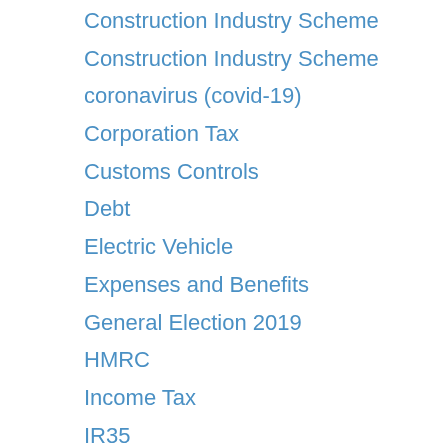Construction Industry Scheme
Construction Industry Scheme
coronavirus (covid-19)
Corporation Tax
Customs Controls
Debt
Electric Vehicle
Expenses and Benefits
General Election 2019
HMRC
Income Tax
IR35
Job Retention Scheme
Job Support Scheme
legal tender